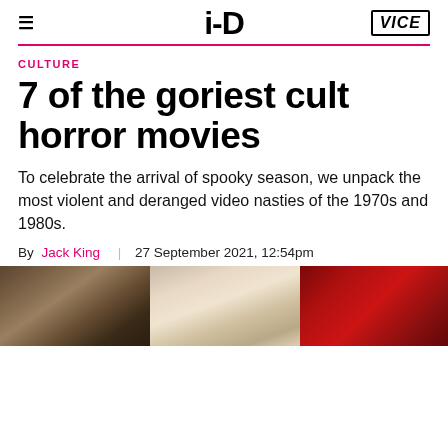i-D | VICE
CULTURE
7 of the goriest cult horror movies
To celebrate the arrival of spooky season, we unpack the most violent and deranged video nasties of the 1970s and 1980s.
By Jack King | 27 September 2021, 12:54pm
[Figure (photo): Three horror movie still images side by side: a gory decayed head on the left, a pale face/egg shape in the middle, and a red bloody scene on the right.]